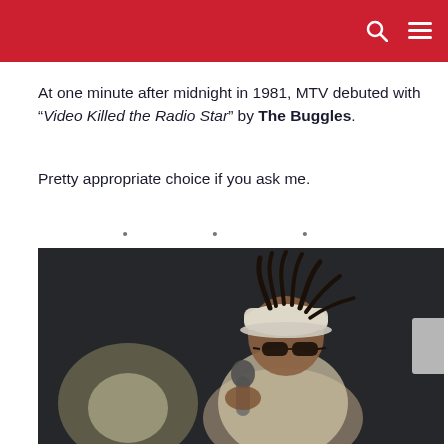At one minute after midnight in 1981, MTV debuted with “Video Killed the Radio Star” by The Buggles.
Pretty appropriate choice if you ask me.
* * *
[Figure (photo): A performer wearing a white cap with braids/dreads sticking out, sunglasses, holding a microphone, performing on stage with dramatic lighting]